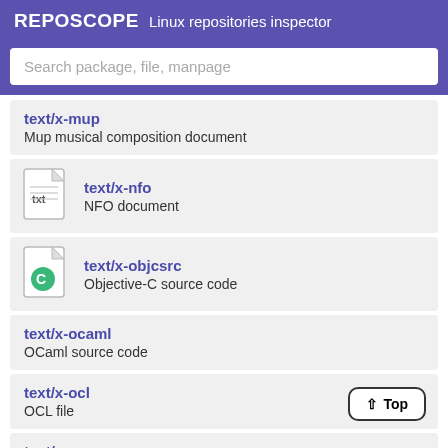REPOSCOPE Linux repositories inspector
Search package, file, manpage
text/x-mup — Mup musical composition document
text/x-nfo — NFO document
text/x-objcsrc — Objective-C source code
text/x-ocaml — OCaml source code
text/x-ocl — OCL file
text/x-ooc